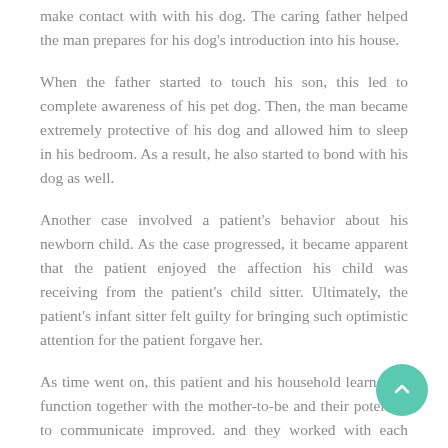make contact with with his dog. The caring father helped the man prepares for his dog's introduction into his house.
When the father started to touch his son, this led to complete awareness of his pet dog. Then, the man became extremely protective of his dog and allowed him to sleep in his bedroom. As a result, he also started to bond with his dog as well.
Another case involved a patient's behavior about his newborn child. As the case progressed, it became apparent that the patient enjoyed the affection his child was receiving from the patient's child sitter. Ultimately, the patient's infant sitter felt guilty for bringing such optimistic attention for the patient forgave her.
As time went on, this patient and his household learned to function together with the mother-to-be and their potential to communicate improved. and they worked with each other to resolve any concerns that arose. In addition, the patient took an appreciation course in art, became a superb music teacher, and started to lead